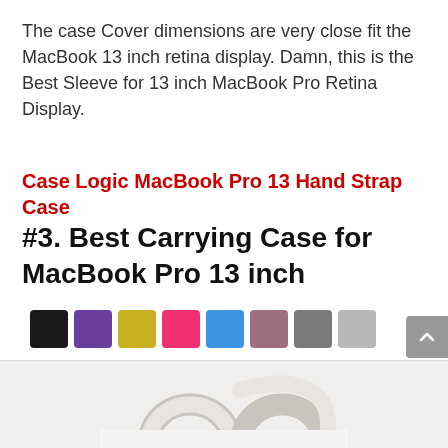The case Cover dimensions are very close fit the MacBook 13 inch retina display. Damn, this is the Best Sleeve for 13 inch MacBook Pro Retina Display.
Case Logic MacBook Pro 13 Hand Strap Case
#3. Best Carrying Case for MacBook Pro 13 inch
[Figure (other): Color swatches showing 8 color options: black, purple, yellow, pink, blue, mauve, gray, light gray]
[Figure (photo): Partial photo of a white/light gray laptop carrying bag with handles visible at top, cropped at bottom of page]